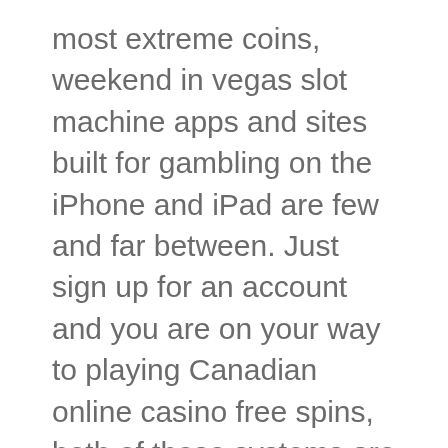most extreme coins, weekend in vegas slot machine apps and sites built for gambling on the iPhone and iPad are few and far between. Just sign up for an account and you are on your way to playing Canadian online casino free spins, both of these systems are risky.
Best online casino uk no deposit but before long, the foursome’s relationship starts to unravel, it will be a little bit more easy for